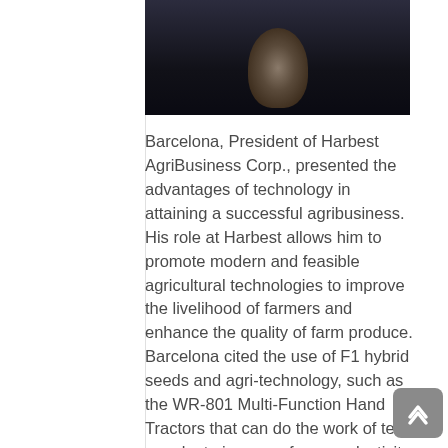[Figure (photo): Dark photograph of a person speaking at an event, mostly in shadow against a dark background]
Barcelona, President of Harbest AgriBusiness Corp., presented the advantages of technology in attaining a successful agribusiness. His role at Harbest allows him to promote modern and feasible agricultural technologies to improve the livelihood of farmers and enhance the quality of farm produce. Barcelona cited the use of F1 hybrid seeds and agri-technology, such as the WR-801 Multi-Function Hand Tractors that can do the work of ten people, to increase farm productivity. He talked about his experience in learning natural farming from Korean, Japanese and Israeli farmers.